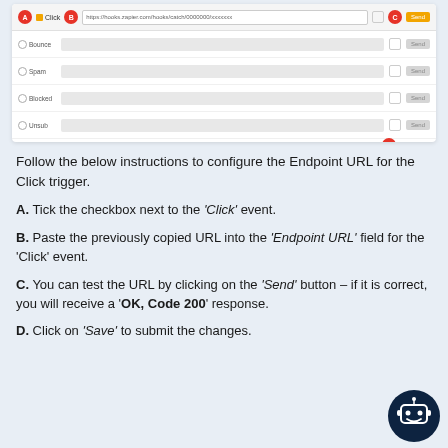[Figure (screenshot): A webhook configuration UI showing rows for Click (checked, with endpoint URL filled), Bounce, Spam, Blocked, and Unsubscribe events. Labeled A (checkbox), B (endpoint URL field), C (Send button), D (Save button). Callout badges A, B, C, D are shown in red circles.]
Follow the below instructions to configure the Endpoint URL for the Click trigger.
A. Tick the checkbox next to the ‘Click’ event.
B. Paste the previously copied URL into the ‘Endpoint URL’ field for the ‘Click’ event.
C. You can test the URL by clicking on the ‘Send’ button – if it is correct, you will receive a ‘OK, Code 200’ response.
D. Click on ‘Save’ to submit the changes.